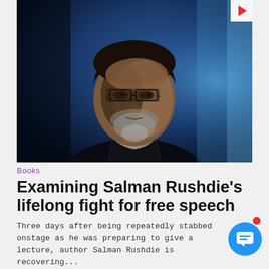[Figure (photo): Portrait photograph of Salman Rushdie, a middle-aged man with glasses, greying beard and dark hair, shown against a dark blue background, wearing a dark jacket]
Books
Examining Salman Rushdie's lifelong fight for free speech
Three days after being repeatedly stabbed onstage as he was preparing to give a lecture, author Salman Rushdie is recovering...